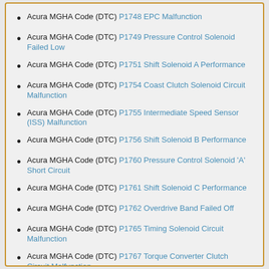Acura MGHA Code (DTC) P1748 EPC Malfunction
Acura MGHA Code (DTC) P1749 Pressure Control Solenoid Failed Low
Acura MGHA Code (DTC) P1751 Shift Solenoid A Performance
Acura MGHA Code (DTC) P1754 Coast Clutch Solenoid Circuit Malfunction
Acura MGHA Code (DTC) P1755 Intermediate Speed Sensor (ISS) Malfunction
Acura MGHA Code (DTC) P1756 Shift Solenoid B Performance
Acura MGHA Code (DTC) P1760 Pressure Control Solenoid 'A' Short Circuit
Acura MGHA Code (DTC) P1761 Shift Solenoid C Performance
Acura MGHA Code (DTC) P1762 Overdrive Band Failed Off
Acura MGHA Code (DTC) P1765 Timing Solenoid Circuit Malfunction
Acura MGHA Code (DTC) P1767 Torque Converter Clutch Circuit Malfunction
Acura MGHA Code (DTC) P1768 Performance/Normal/Winter Mode...